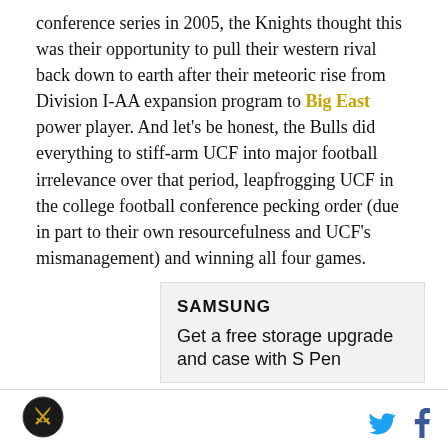conference series in 2005, the Knights thought this was their opportunity to pull their western rival back down to earth after their meteoric rise from Division I-AA expansion program to Big East power player. And let's be honest, the Bulls did everything to stiff-arm UCF into major football irrelevance over that period, leapfrogging UCF in the college football conference pecking order (due in part to their own resourcefulness and UCF's mismanagement) and winning all four games.
[Figure (other): Samsung advertisement banner with text 'SAMSUNG' and 'Get a free storage upgrade and case with S Pen']
Logo icon and social media icons (Twitter, Facebook)